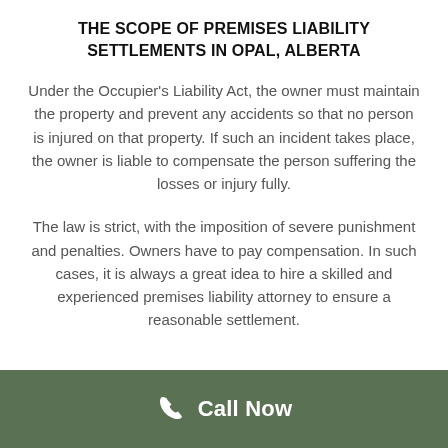THE SCOPE OF PREMISES LIABILITY SETTLEMENTS IN OPAL, ALBERTA
Under the Occupier's Liability Act, the owner must maintain the property and prevent any accidents so that no person is injured on that property. If such an incident takes place, the owner is liable to compensate the person suffering the losses or injury fully.
The law is strict, with the imposition of severe punishment and penalties. Owners have to pay compensation. In such cases, it is always a great idea to hire a skilled and experienced premises liability attorney to ensure a reasonable settlement.
Call Now